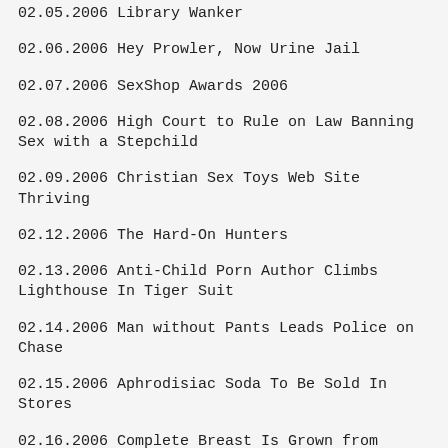02.05.2006 Library Wanker
02.06.2006 Hey Prowler, Now Urine Jail
02.07.2006 SexShop Awards 2006
02.08.2006 High Court to Rule on Law Banning Sex with a Stepchild
02.09.2006 Christian Sex Toys Web Site Thriving
02.12.2006 The Hard-On Hunters
02.13.2006 Anti-Child Porn Author Climbs Lighthouse In Tiger Suit
02.14.2006 Man without Pants Leads Police on Chase
02.15.2006 Aphrodisiac Soda To Be Sold In Stores
02.16.2006 Complete Breast Is Grown from Single